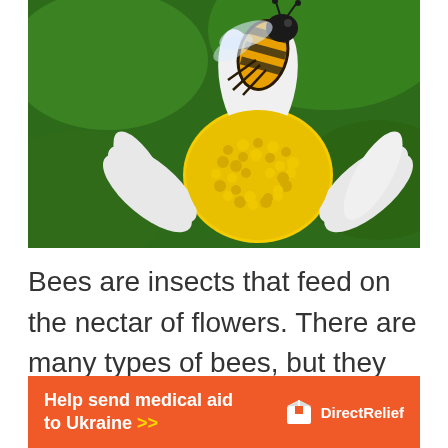[Figure (photo): Close-up photograph of a honeybee on a white daisy flower with yellow center pollen, green background]
Bees are insects that feed on the nectar of flowers. There are many types of bees, but they all have a very hairy body with a short stinger. Some examples of bees include honeybees, bumblebees, and
[Figure (infographic): Orange advertisement banner: 'Help send medical aid to Ukraine >>' with DirectRelief logo on the right]